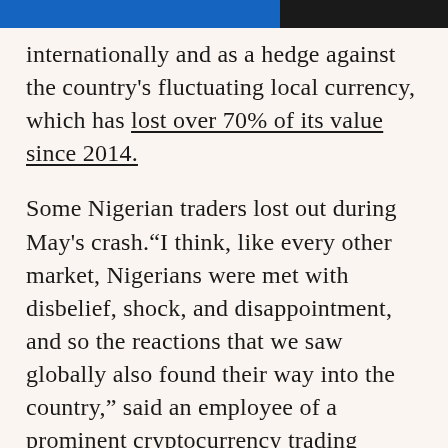[article header bar - truncated]
internationally and as a hedge against the country's fluctuating local currency, which has lost over 70% of its value since 2014.
Some Nigerian traders lost out during May's crash.“I think, like every other market, Nigerians were met with disbelief, shock, and disappointment, and so the reactions that we saw globally also found their way into the country,” said an employee of a prominent cryptocurrency trading platform in the region, speaking on condition of anonymity because they were not authorized to talk to the media. “I personally know one person who lost nearly $[million during the crash,” the individual...